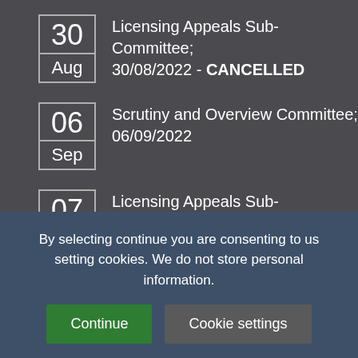30 Aug — Licensing Appeals Sub-Committee; 30/08/2022 - CANCELLED
06 Sep — Scrutiny and Overview Committee; 06/09/2022
07 Sep — Licensing Appeals Sub-Committee; 07/09/2022
07 — Licensing Appeals Sub-Committee (partially visible)
By selecting continue you are consenting to us setting cookies. We do not store personal information.
Continue
Cookie settings